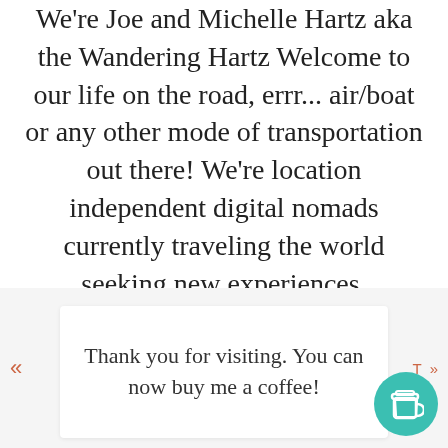We're Joe and Michelle Hartz aka the Wandering Hartz Welcome to our life on the road, errr... air/boat or any other mode of transportation out there! We're location independent digital nomads currently traveling the world seeking new experiences, adventures, and satisfying our curiosity and wanderlust.
Thank you for visiting. You can now buy me a coffee!